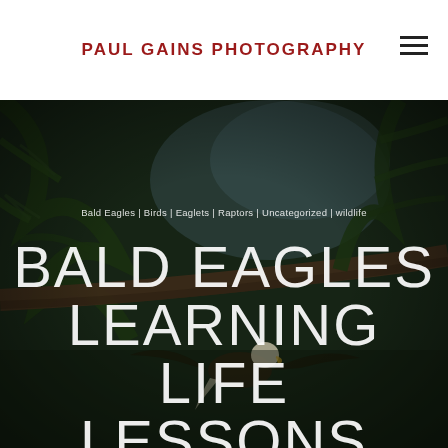PAUL GAINS PHOTOGRAPHY
[Figure (photo): Dark moody forest scene with pine tree branches and a bald eagle visible in the lower portion of the frame. Background shows tree trunks and sky peeking through foliage.]
Bald Eagles | Birds | Eaglets | Raptors | Uncategorized | wildlife
BALD EAGLES LEARNING LIFE LESSONS